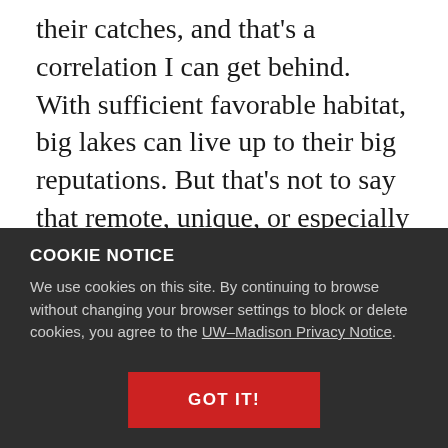their catches, and that's a correlation I can get behind. With sufficient favorable habitat, big lakes can live up to their big reputations. But that's not to say that remote, unique, or especially well-managed smaller waters can't produce lunkers too. If you want to find that fish of a lifetime, you can either follow the crowds to massive lakes, or use some creativity to find spots of your own.
Posted in Fish, Fishing, Boating & Water Recreation | Tagged bass, big fish, Jeremy Gaeta, Junkers, The Meat Eater, walleye
COOKIE NOTICE
We use cookies on this site. By continuing to browse without changing your browser settings to block or delete cookies, you agree to the UW–Madison Privacy Notice.